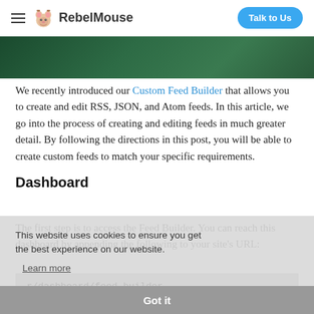RebelMouse — Talk to Us
[Figure (photo): Dark green background hero image, partially cropped at top of page]
We recently introduced our Custom Feed Builder that allows you to create and edit RSS, JSON, and Atom feeds. In this article, we go into the process of creating and editing feeds in much greater detail. By following the directions in this post, you will be able to create custom feeds to match your specific requirements.
Dashboard
The first step is to access the Feed Builder. You can reach this dashboard by appending the following to your site's URL:
This website uses cookies to ensure you get the best experience on our website.
Learn more
r/dashboard/feed_builder
Got it